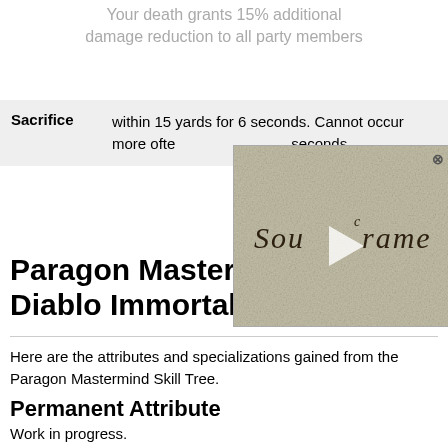Your death grants 15% additional damage reduction to all party members within 15 yards for 6 seconds. Cannot occur more often than every 120 seconds.
| Skill | Description |
| --- | --- |
| Sacrifice | within 15 yards for 6 seconds. Cannot occur more often than every 120 seconds. |
[Figure (screenshot): Soulframe game logo/video thumbnail overlay with medieval gothic text and play button]
Paragon Mastermind Diablo Immortal
Here are the attributes and specializations gained from the Paragon Mastermind Skill Tree.
Permanent Attribute
Work in progress.
Content Continues After Ad
[Figure (screenshot): Best Buy advertisement banner: Save up to $350 on select HP laptops with 12th Gen Intel Core processors.]